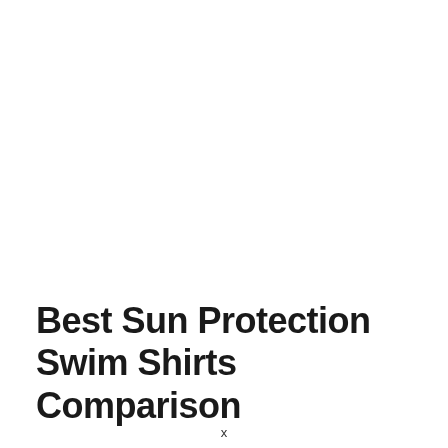Best Sun Protection Swim Shirts Comparison
x